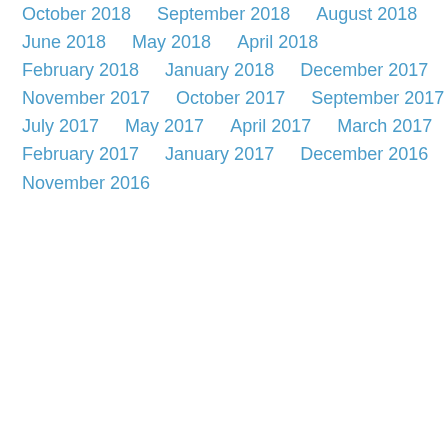October 2018
September 2018
August 2018
June 2018
May 2018
April 2018
February 2018
January 2018
December 2017
November 2017
October 2017
September 2017
July 2017
May 2017
April 2017
March 2017
February 2017
January 2017
December 2016
November 2016